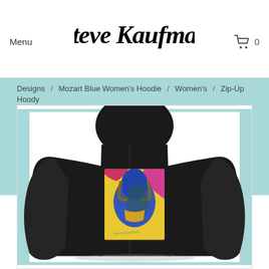Menu  Steve Kaufman  0
Designs / Mozart Blue Women's Hoodie / Women's / Zip-Up Hoody
[Figure (photo): Black zip-up hoodie displayed from the back, showing a colorful pop-art style portrait of Mozart in blue tones on a yellow background printed on the back of the hoodie. The image is by Steve Kaufman.]